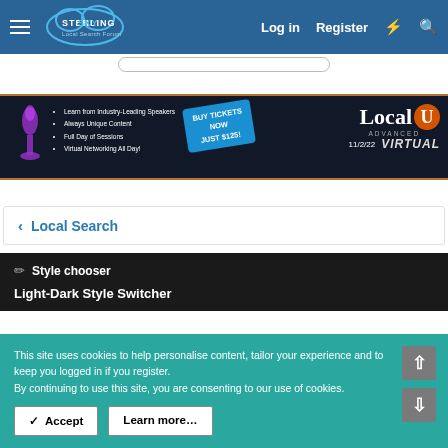Sterling Sky Local Search Forum — Log in   Register
[Figure (screenshot): Ad banner for LocalU Advanced Virtual event on 11/2/22. Dark background with bullet points: Learn from Industry-Leading Speakers, Always Unique Content, Full Day of Sessions, Virtual Networking All Day! Ticket button: BUY TICKETS NOW JUST $125! LocalU logo with orange U badge, text ADVANCED and VIRTUAL, date 11/2/22.]
< Local Search
Style chooser
Light-Dark Style Switcher
This site uses cookies to help personalise content, tailor your experience and to keep you logged in if you register.
By continuing to use this site, you are consenting to our use of cookies.
✓ Accept    Learn more…